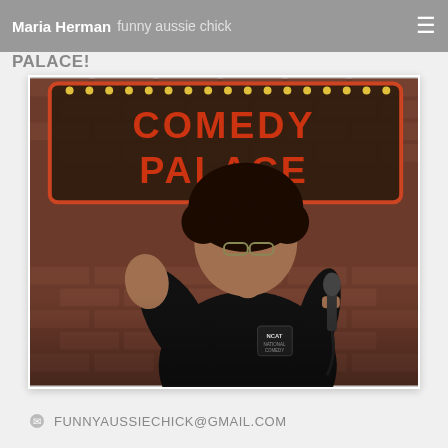Maria Herman | funny aussie chick
PALACE!
[Figure (photo): A young man with curly dark hair and glasses performing stand-up comedy on stage, holding a microphone, wearing a black t-shirt with 'NCAT' text, in front of a brick wall and a 'COMEDY PALACE' illuminated sign.]
FUNNYAUSSIECHICK@GMAIL.COM